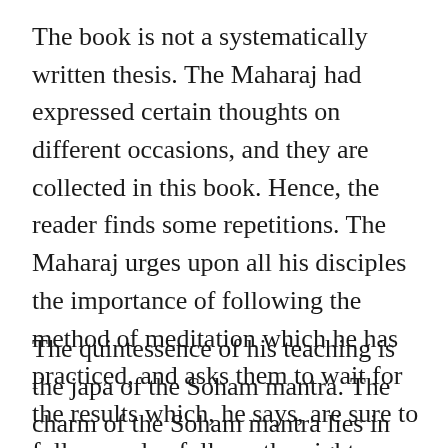The book is not a systematically written thesis. The Maharaj had expressed certain thoughts on different occasions, and they are collected in this book. Hence, the reader finds some repetitions. The Maharaj urges upon all his disciples the importance of following the method of meditation which he has practiced, and asks them to wait for the results which, he says, are sure to follow as day follows the night.
The quintessence of his teaching is the japa of the Soham mantra. The charm of the Soham mantra lies in its ease, simplicity, and